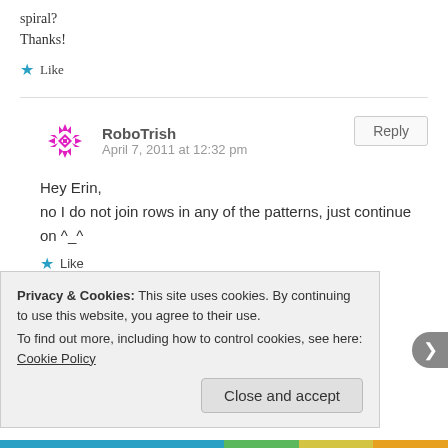spiral?
Thanks!
★ Like
RoboTrish
April 7, 2011 at 12:32 pm
Hey Erin,
no I do not join rows in any of the patterns, just continue on ^_^
★ Like
Privacy & Cookies: This site uses cookies. By continuing to use this website, you agree to their use.
To find out more, including how to control cookies, see here: Cookie Policy
Close and accept